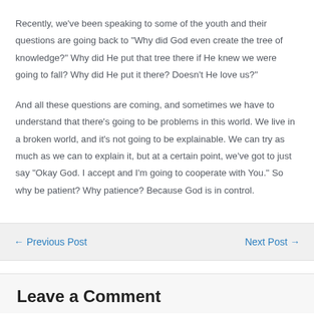Recently, we've been speaking to some of the youth and their questions are going back to “Why did God even create the tree of knowledge?” Why did He put that tree there if He knew we were going to fall? Why did He put it there? Doesn’t He love us?”
And all these questions are coming, and sometimes we have to understand that there’s going to be problems in this world. We live in a broken world, and it’s not going to be explainable. We can try as much as we can to explain it, but at a certain point, we’ve got to just say “Okay God. I accept and I’m going to cooperate with You.” So why be patient? Why patience? Because God is in control.
← Previous Post   Next Post →
Leave a Comment